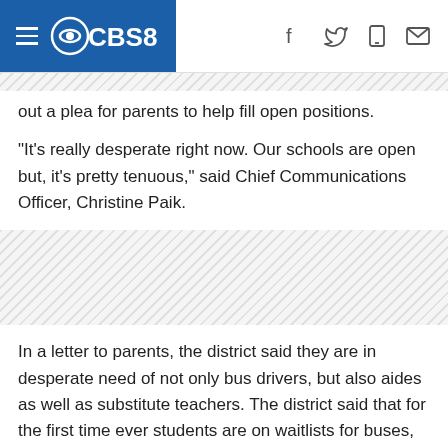CBS8
out a plea for parents to help fill open positions.
"It's really desperate right now. Our schools are open but, it's pretty tenuous," said Chief Communications Officer, Christine Paik.
[Figure (other): Hatched advertisement/placeholder area]
In a letter to parents, the district said they are in desperate need of not only bus drivers, but also aides as well as substitute teachers. The district said that for the first time ever students are on waitlists for buses, they added that some schools have lunch lines that are so long, students don't have time to eat before having to go back to class.
Most of the positions available are classified, meaning they're not teaching jobs.